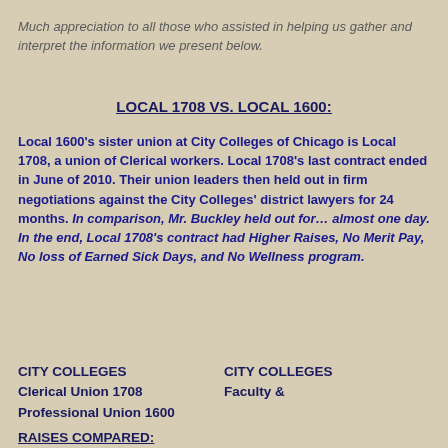Much appreciation to all those who assisted in helping us gather and interpret the information we present below.
LOCAL 1708 VS.  LOCAL 1600:
Local 1600's sister union at City Colleges of Chicago is Local 1708, a union of Clerical workers.  Local 1708's last contract ended in June of 2010.  Their union leaders then held out in firm negotiations against the City Colleges' district lawyers for 24 months.  In comparison, Mr. Buckley held out for… almost one day.  In the end, Local 1708's contract had Higher Raises, No Merit Pay, No loss of Earned Sick Days, and No Wellness program.
CITY COLLEGES Clerical Union 1708 Professional Union 1600
CITY COLLEGES Faculty &
RAISES COMPARED: